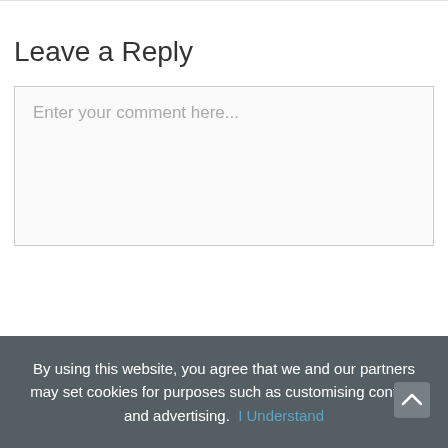Leave a Reply
Enter your comment here...
By using this website, you agree that we and our partners may set cookies for purposes such as customising content and advertising.  I Understand